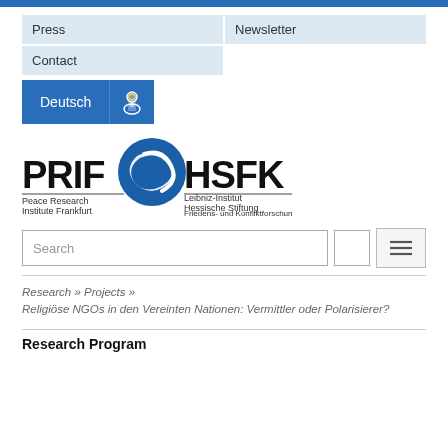Press
Newsletter
Contact
[Figure (screenshot): Deutsch language button with reader icon]
[Figure (logo): PRIF HSFK logo - Peace Research Institute Frankfurt / Leibniz-Institut Hessische Stiftung Friedens- und Konfliktforschung]
Search
Research » Projects » Religiöse NGOs in den Vereinten Nationen: Vermittler oder Polarisierer?
Research Program